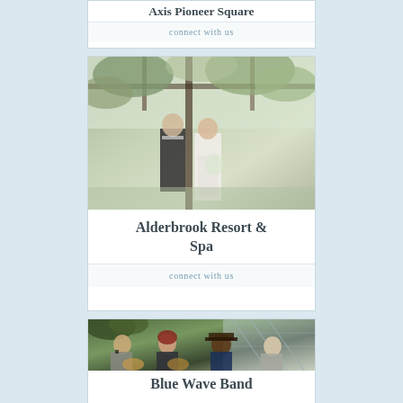Axis Pioneer Square
connect with us
[Figure (photo): Couple at outdoor wedding venue with greenery and pergola — Alderbrook Resort & Spa promotional image]
Alderbrook Resort & Spa
connect with us
[Figure (photo): Four musicians playing in a greenhouse venue — Blue Wave Band promotional image]
Blue Wave Band